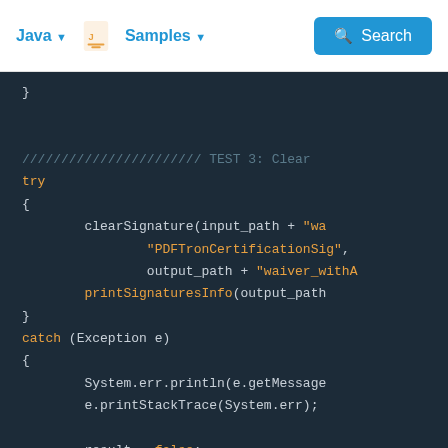Java  Samples  Search
[Figure (screenshot): Java code snippet showing a try-catch block with clearSignature and printSignaturesInfo method calls, followed by a catch block with System.err.println, e.printStackTrace, and result = false statements.]